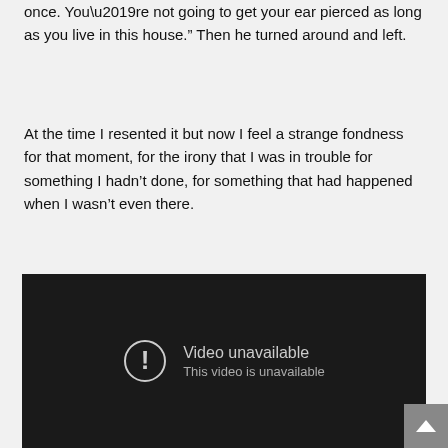once. You’re not going to get your ear pierced as long as you live in this house.” Then he turned around and left.
At the time I resented it but now I feel a strange fondness for that moment, for the irony that I was in trouble for something I hadn’t done, for something that had happened when I wasn’t even there.
[Figure (screenshot): Embedded video player showing 'Video unavailable' error message with exclamation icon and text 'This video is unavailable' on dark background.]